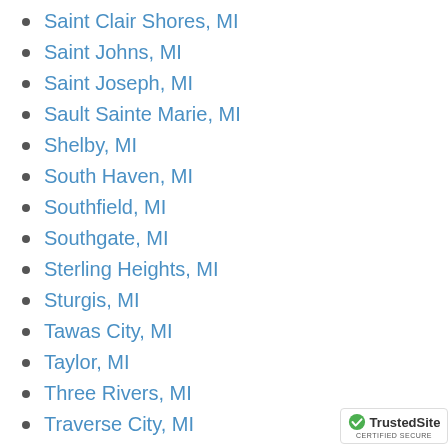Saint Clair Shores, MI
Saint Johns, MI
Saint Joseph, MI
Sault Sainte Marie, MI
Shelby, MI
South Haven, MI
Southfield, MI
Southgate, MI
Sterling Heights, MI
Sturgis, MI
Tawas City, MI
Taylor, MI
Three Rivers, MI
Traverse City, MI
Trenton, MI
Union City, MI
Utica, MI
Vassar, MI
[Figure (logo): TrustedSite certified secure badge]